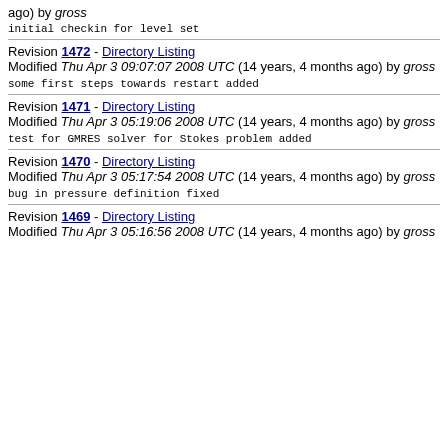ago) by gross
initial checkin for level set
Revision 1472 - Directory Listing Modified Thu Apr 3 09:07:07 2008 UTC (14 years, 4 months ago) by gross
some first steps towards restart added
Revision 1471 - Directory Listing Modified Thu Apr 3 05:19:06 2008 UTC (14 years, 4 months ago) by gross
test for GMRES solver for Stokes problem added
Revision 1470 - Directory Listing Modified Thu Apr 3 05:17:54 2008 UTC (14 years, 4 months ago) by gross
bug in pressure definition fixed
Revision 1469 - Directory Listing Modified Thu Apr 3 05:16:56 2008 UTC (14 years, 4 months ago) by gross